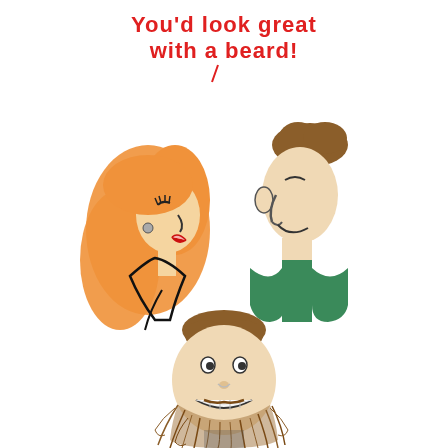[Figure (illustration): A humorous cartoon comic. Top panel: A woman with long orange/red hair and red lips faces right and speaks (speech bubble says 'You'd look great with a beard!') to a clean-shaven man with brown hair wearing a green shirt, who faces left smiling. Bottom panel: The same man is now shown from the front with a wild, messy, scraggly beard growing down his face, grinning widely.]